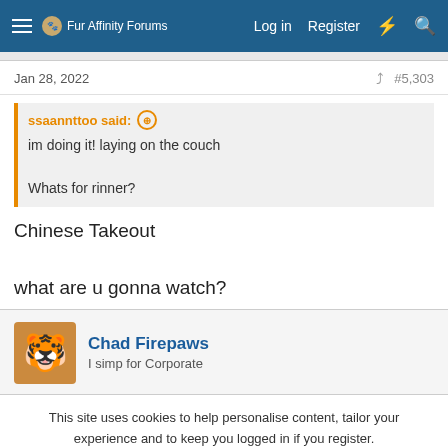Fur Affinity Forums  Log in  Register
Jan 28, 2022  #5,303
ssaannttoo said:
im doing it! laying on the couch
Whats for rinner?
Chinese Takeout

what are u gonna watch?
Chad Firepaws
I simp for Corporate
This site uses cookies to help personalise content, tailor your experience and to keep you logged in if you register.
By continuing to use this site, you are consenting to our use of cookies.